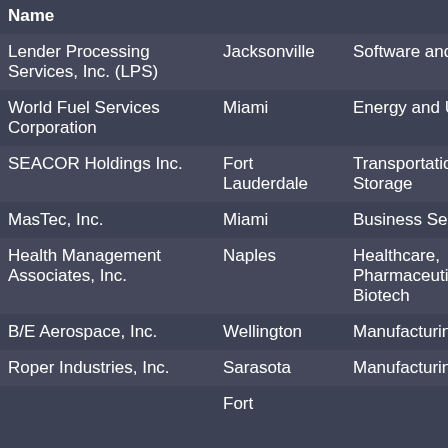| Name | City | Industry | Subsector |
| --- | --- | --- | --- |
| Lender Processing Services, Inc. (LPS) | Jacksonville | Software and Internet | Data Mana and S |
| World Fuel Services Corporation | Miami | Energy and Utilities | Gaso Refin |
| SEACOR Holdings Inc. | Fort Lauderdale | Transportation and Storage | Marin Inlan |
| MasTec, Inc. | Miami | Business Services | Secu Servi |
| Health Management Associates, Inc. | Naples | Healthcare, Pharmaceuticals and Biotech | Hosp |
| B/E Aerospace, Inc. | Wellington | Manufacturing | Aero Defe |
| Roper Industries, Inc. | Sarasota | Manufacturing | Manu Othe |
|  | Fort |  | Auto |